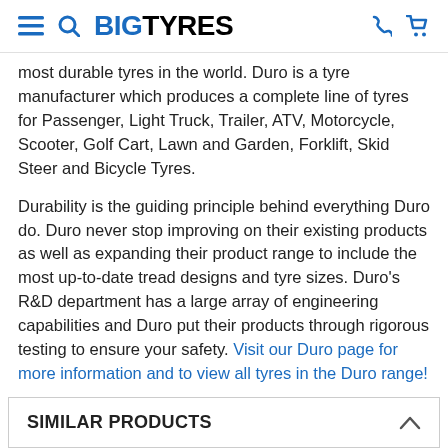BIGTYRES
most durable tyres in the world. Duro is a tyre manufacturer which produces a complete line of tyres for Passenger, Light Truck, Trailer, ATV, Motorcycle, Scooter, Golf Cart, Lawn and Garden, Forklift, Skid Steer and Bicycle Tyres.
Durability is the guiding principle behind everything Duro do. Duro never stop improving on their existing products as well as expanding their product range to include the most up-to-date tread designs and tyre sizes. Duro's R&D department has a large array of engineering capabilities and Duro put their products through rigorous testing to ensure your safety. Visit our Duro page for more information and to view all tyres in the Duro range!
SIMILAR PRODUCTS